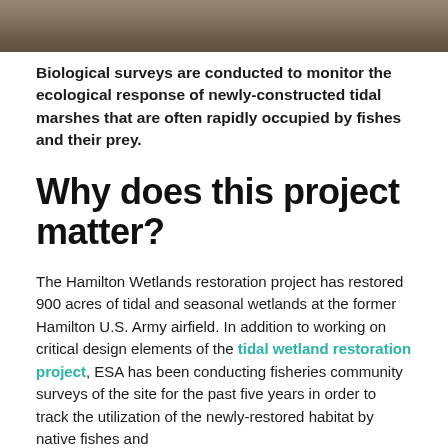[Figure (photo): Partial photo strip at top of page showing what appears to be a close-up of tidal marsh or wetland substrate]
Biological surveys are conducted to monitor the ecological response of newly-constructed tidal marshes that are often rapidly occupied by fishes and their prey.
Why does this project matter?
The Hamilton Wetlands restoration project has restored 900 acres of tidal and seasonal wetlands at the former Hamilton U.S. Army airfield. In addition to working on critical design elements of the tidal wetland restoration project, ESA has been conducting fisheries community surveys of the site for the past five years in order to track the utilization of the newly-restored habitat by native fishes and...